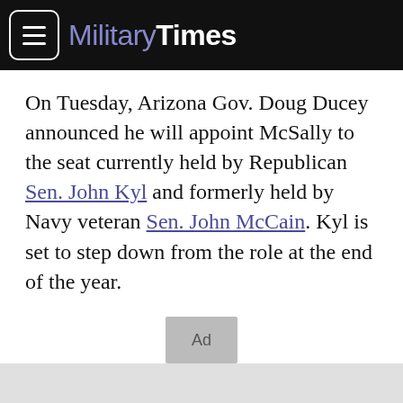Military Times
On Tuesday, Arizona Gov. Doug Ducey announced he will appoint McSally to the seat currently held by Republican Sen. John Kyl and formerly held by Navy veteran Sen. John McCain. Kyl is set to step down from the role at the end of the year.